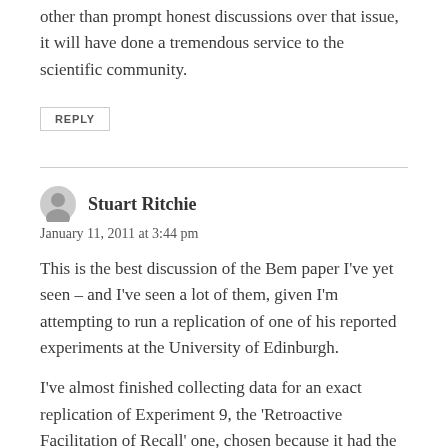other than prompt honest discussions over that issue, it will have done a tremendous service to the scientific community.
REPLY
Stuart Ritchie
January 11, 2011 at 3:44 pm
This is the best discussion of the Bem paper I've yet seen – and I've seen a lot of them, given I'm attempting to run a replication of one of his reported experiments at the University of Edinburgh.
I've almost finished collecting data for an exact replication of Experiment 9, the 'Retroactive Facilitation of Recall' one, chosen because it had the